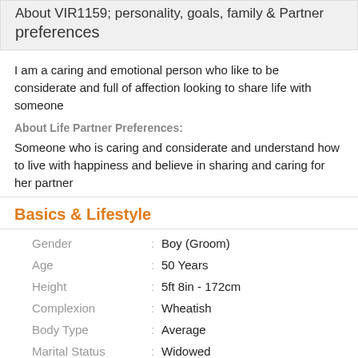About VIR1159; personality, goals, family & Partner preferences
I am a caring and emotional person who like to be considerate and full of affection looking to share life with someone
About Life Partner Preferences:
Someone who is caring and considerate and understand how to live with happiness and believe in sharing and caring for her partner
Basics & Lifestyle
| Field | Value |
| --- | --- |
| Gender | Boy (Groom) |
| Age | 50 Years |
| Height | 5ft 8in - 172cm |
| Complexion | Wheatish |
| Body Type | Average |
| Marital Status | Widowed |
| Have Children | Yes - Not Living together |
| Diet | Vegetarian |